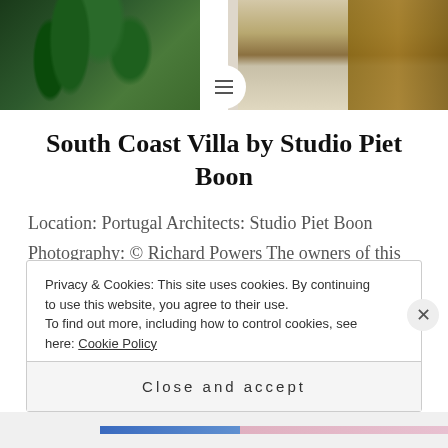[Figure (photo): Photo banner showing tropical plants on the left and wooden cabinetry/stone wall on the right, with a circular menu icon in the center]
South Coast Villa by Studio Piet Boon
Location: Portugal Architects: Studio Piet Boon Photography: © Richard Powers The owners of this beautiful holiday villa in the south of Portugal lead busy lives. With this in mind, we ensured the color palette was subdued, thereby creating a calming, relaxing mood. The lady of the house has a penchant for luxury, stylish fabrics,
Privacy & Cookies: This site uses cookies. By continuing to use this website, you agree to their use.
To find out more, including how to control cookies, see here: Cookie Policy
Close and accept